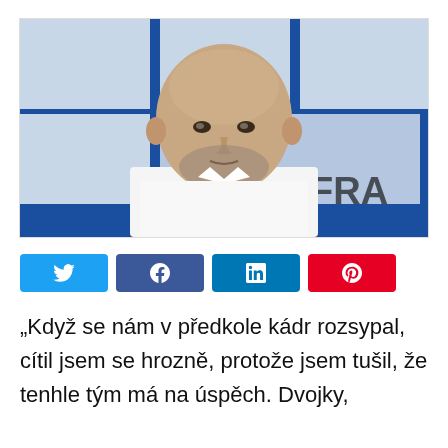[Figure (photo): Bald man with stubble wearing a white shirt, photographed in front of a blue and white press conference backdrop with partial text 'ERA' visible.]
[Figure (infographic): Social media share buttons: Twitter (blue), Facebook (dark blue), LinkedIn (blue), Pinterest (red).]
„Když se nám v předkole kádr rozsypal, cítil jsem se hrozně, protože jsem tušil, že tenhle tým má na úspěch. Dvojky,